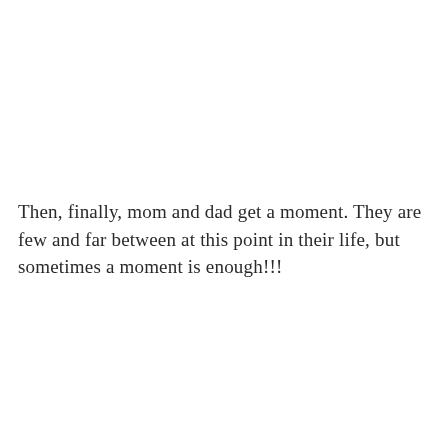Then, finally, mom and dad get a moment. They are few and far between at this point in their life, but sometimes a moment is enough!!!